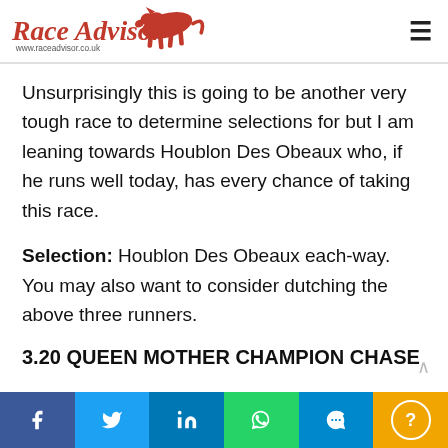Race Advisor — www.raceadvisor.co.uk
Unsurprisingly this is going to be another very tough race to determine selections for but I am leaning towards Houblon Des Obeaux who, if he runs well today, has every chance of taking this race.
Selection: Houblon Des Obeaux each-way. You may also want to consider dutching the above three runners.
3.20 QUEEN MOTHER CHAMPION CHASE